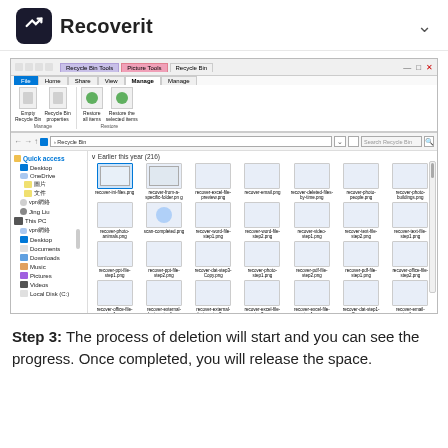Recoverit
[Figure (screenshot): Windows File Explorer showing the Recycle Bin with many PNG thumbnail files, including a ribbon toolbar with Manage and Restore options, left sidebar with Quick access, Desktop, OneDrive, and This PC items, and main content area showing 'Earlier this year (216)' with file thumbnails named recover-ini-files.png, recover-from-a-specific-folder.png, recover-excel-file-preview.png, recover-email.png, recover-deleted-files-by-time.png, recover-photo-people.png, recover-photo-buildings.png, and many more.]
Step 3: The process of deletion will start and you can see the progress. Once completed, you will release the space.